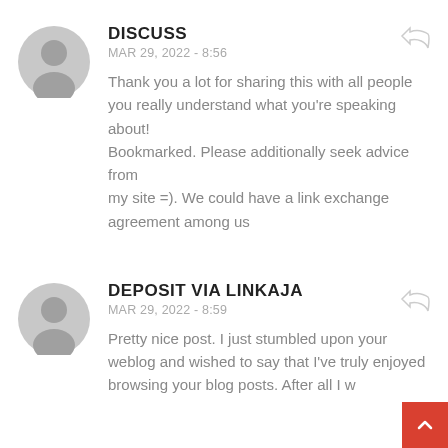[Figure (illustration): Gray circular avatar icon with silhouette of a person]
DISCUSS
MAR 29, 2022 - 8:56
Thank you a lot for sharing this with all people you really understand what you're speaking about!
Bookmarked. Please additionally seek advice from
my site =). We could have a link exchange agreement among us
[Figure (illustration): Gray circular avatar icon with silhouette of a person]
DEPOSIT VIA LINKAJA
MAR 29, 2022 - 8:59
Pretty nice post. I just stumbled upon your weblog and wished to say that I've truly enjoyed browsing your blog posts. After all I w